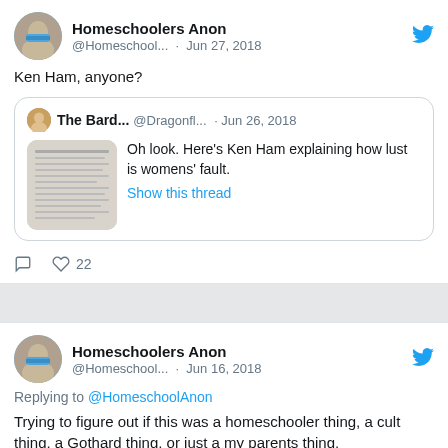[Figure (screenshot): Twitter screenshot showing two tweets from Homeschoolers Anon account. First tweet dated Jun 27, 2018 says 'Ken Ham, anyone?' with a quoted tweet from The Bard... @Dragonfl... Jun 26, 2018 saying 'Oh look. Here's Ken Ham explaining how lust is womens' fault.' with Show this thread link, and 22 likes. Second tweet dated Jun 16, 2018 is a reply to @HomeschoolAnon saying 'Trying to figure out if this was a homeschooler thing, a cult thing, a Gothard thing, or just a my parents thing.']